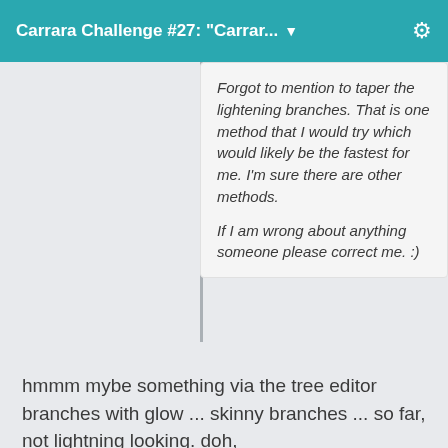Carrara Challenge #27: "Carrar..." ▼
Forgot to mention to taper the lightening branches. That is one method that I would try which would likely be the fastest for me. I'm sure there are other methods.

If I am wrong about anything someone please correct me. :)
hmmm mybe something via the tree editor branches with glow ... skinny branches ... so far, not lightning looking. doh,